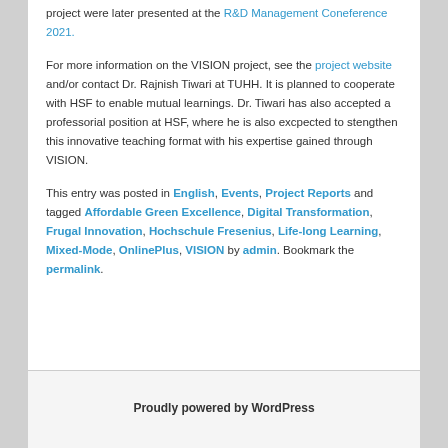project were later presented at the R&D Management Coneference 2021.
For more information on the VISION project, see the project website and/or contact Dr. Rajnish Tiwari at TUHH. It is planned to cooperate with HSF to enable mutual learnings. Dr. Tiwari has also accepted a professorial position at HSF, where he is also excpected to stengthen this innovative teaching format with his expertise gained through VISION.
This entry was posted in English, Events, Project Reports and tagged Affordable Green Excellence, Digital Transformation, Frugal Innovation, Hochschule Fresenius, Life-long Learning, Mixed-Mode, OnlinePlus, VISION by admin. Bookmark the permalink.
Proudly powered by WordPress